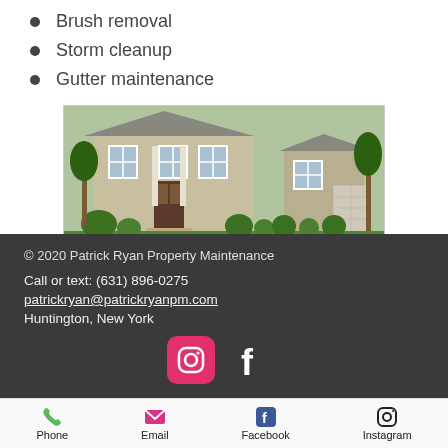Brush removal
Storm cleanup
Gutter maintenance
[Figure (photo): Front exterior of a single-story house with a well-maintained lawn, shrubs, and landscaping.]
© 2020 Patrick Ryan Property Maintenance
Call or text: (631) 896-0275
patrickryan@patrickryanpm.com
Huntington, New York
Phone   Email   Facebook   Instagram